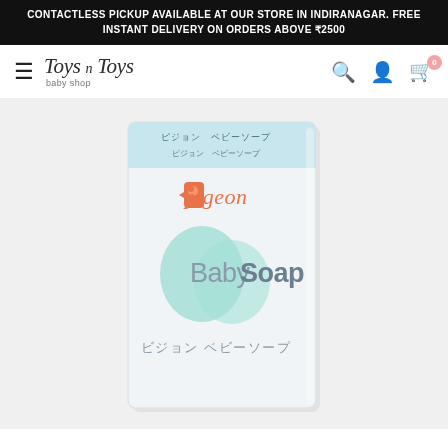CONTACTLESS PICKUP AVAILABLE AT OUR STORE IN INDIRANAGAR. FREE INSTANT DELIVERY ON ORDERS ABOVE ₹2500
[Figure (logo): Toys n Toys baby shop logo with hamburger menu icon on the left and search, account, cart icons on the right]
[Figure (photo): Pigeon Baby Soap product box. White translucent packaging with a light blue label on top, orange Pigeon logo, teal heart-shaped design, text 'Baby Soap' in large gray font, and Japanese text 'ビジョン ベビーソープ' below.]